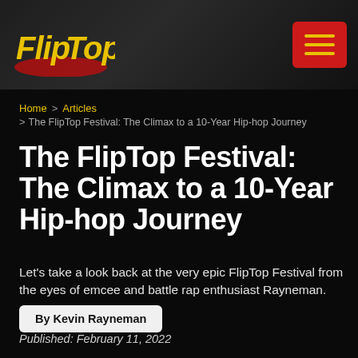FlipTop
Home > Articles > The FlipTop Festival: The Climax to a 10-Year Hip-hop Journey
The FlipTop Festival: The Climax to a 10-Year Hip-hop Journey
Let's take a look back at the very epic FlipTop Festival from the eyes of emcee and battle rap enthusiast Rayneman.
By Kevin Rayneman
Published: February 11, 2022